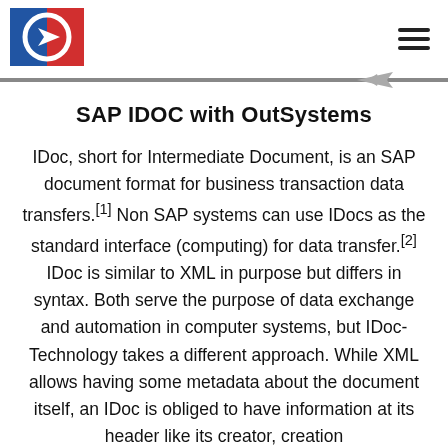SAP IDOC with OutSystems
SAP IDOC with OutSystems
IDoc, short for Intermediate Document, is an SAP document format for business transaction data transfers.[1] Non SAP systems can use IDocs as the standard interface (computing) for data transfer.[2] IDoc is similar to XML in purpose but differs in syntax. Both serve the purpose of data exchange and automation in computer systems, but IDoc-Technology takes a different approach. While XML allows having some metadata about the document itself, an IDoc is obliged to have information at its header like its creator, creation